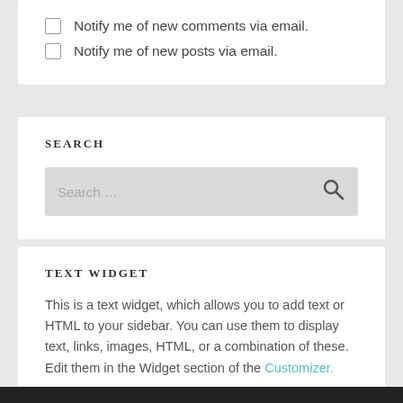Notify me of new comments via email.
Notify me of new posts via email.
SEARCH
Search ...
TEXT WIDGET
This is a text widget, which allows you to add text or HTML to your sidebar. You can use them to display text, links, images, HTML, or a combination of these. Edit them in the Widget section of the Customizer.